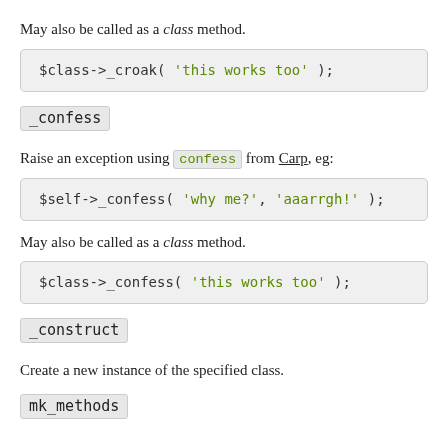May also be called as a class method.
$class->_croak( 'this works too' );
_confess
Raise an exception using confess from Carp, eg:
$self->_confess( 'why me?', 'aaaarrgh!' );
May also be called as a class method.
$class->_confess( 'this works too' );
_construct
Create a new instance of the specified class.
mk_methods